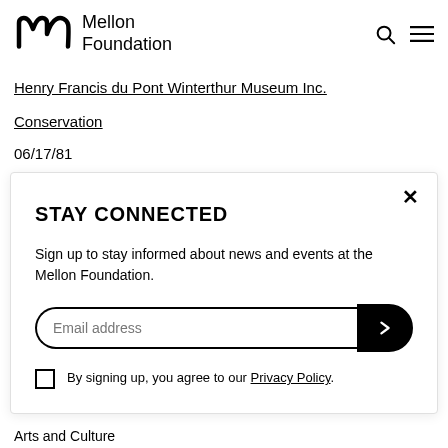[Figure (logo): Mellon Foundation logo with stylized 'm' icon and text 'Mellon Foundation']
Henry Francis du Pont Winterthur Museum Inc.
Conservation
06/17/81
STAY CONNECTED
Sign up to stay informed about news and events at the Mellon Foundation.
Email address
By signing up, you agree to our Privacy Policy.
Arts and Culture